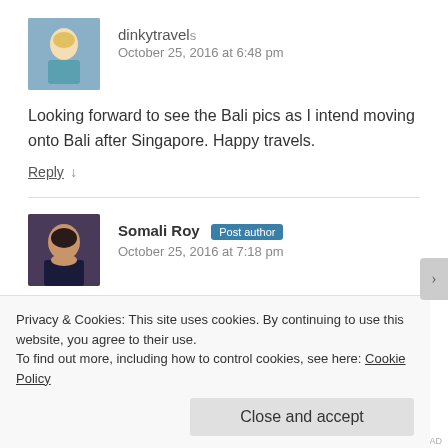dinkytravel
October 25, 2016 at 6:48 pm
Looking forward to see the Bali pics as I intend moving onto Bali after Singapore. Happy travels.
Reply ↓
Somali Roy Post author
October 25, 2016 at 7:18 pm
Privacy & Cookies: This site uses cookies. By continuing to use this website, you agree to their use.
To find out more, including how to control cookies, see here: Cookie Policy
Close and accept